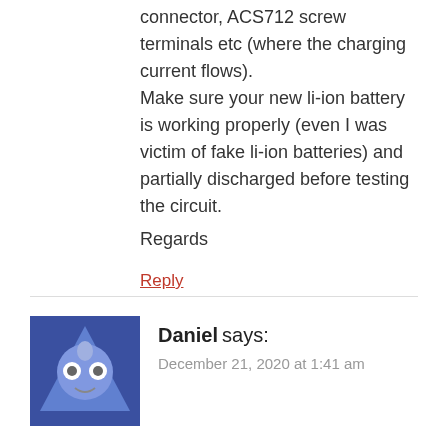connector, ACS712 screw terminals etc (where the charging current flows). Make sure your new li-ion battery is working properly (even I was victim of fake li-ion batteries) and partially discharged before testing the circuit.
Regards
Reply
Daniel says:
December 21, 2020 at 1:41 am
Sir hi again;
I am seeing 0.39-0.46A on lcd it keeps changing.